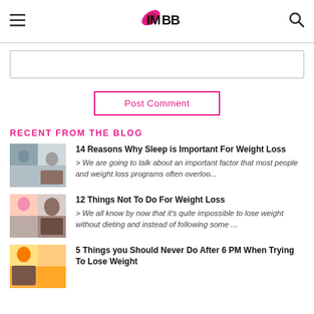IMBB logo, hamburger menu, search icon
[Figure (other): Comment input text box (empty)]
[Figure (other): Post Comment button with pink border]
RECENT FROM THE BLOG
14 Reasons Why Sleep is Important For Weight Loss
> We are going to talk about an important factor that most people and weight loss programs often overloo...
12 Things Not To Do For Weight Loss
> We all know by now that it's quite impossible to lose weight without dieting and instead of following some ...
5 Things you Should Never Do After 6 PM When Trying To Lose Weight